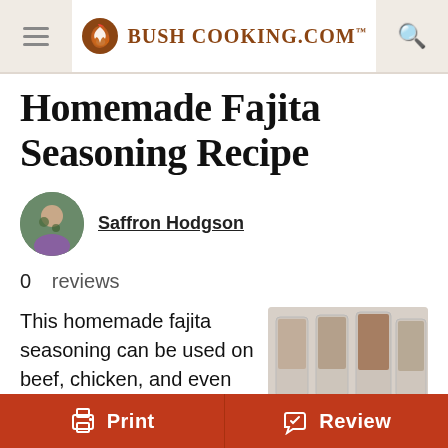Bush Cooking.com
Homemade Fajita Seasoning Recipe
Saffron Hodgson
0  reviews
This homemade fajita seasoning can be used on beef, chicken, and even shrimp. Take it camping as a quick addition of flavor to create a quick and easy meal.
[Figure (photo): Spices in glass jars with a pile of red spice powder in the foreground on a white surface]
Print
Review